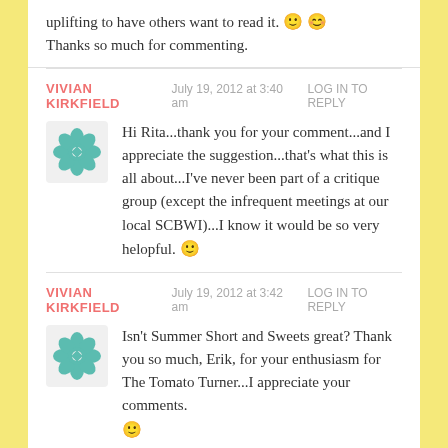uplifting to have others want to read it. 🙂 😊 Thanks so much for commenting.
VIVIAN KIRKFIELD   July 19, 2012 at 3:40 am   LOG IN TO REPLY
Hi Rita...thank you for your comment...and I appreciate the suggestion...that's what this is all about...I've never been part of a critique group (except the infrequent meetings at our local SCBWI)...I know it would be so very helopful. 🙂
VIVIAN KIRKFIELD   July 19, 2012 at 3:42 am   LOG IN TO REPLY
Isn't Summer Short and Sweets great? Thank you so much, Erik, for your enthusiasm for The Tomato Turner...I appreciate your comments. 🙂